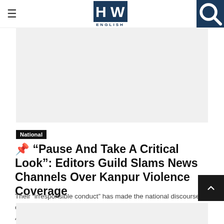HW ENGLISH
[Figure (other): Advertisement placeholder block (gray rectangle)]
National
⌖ “Pause And Take A Critical Look”: Editors Guild Slams News Channels Over Kanpur Violence Coverage
Their “irresponsible conduct” has made the national discourse coarse, the Editors Guild said in its statement. New Delhi: According to the Press Trust of India...
[Figure (other): Bottom advertisement placeholder block (gray rectangle)]